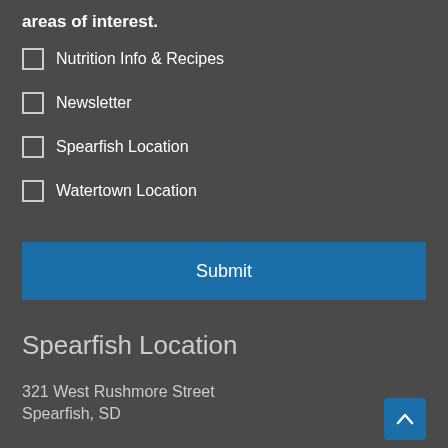areas of interest.
Nutrition Info & Recipes
Newsletter
Spearfish Location
Watertown Location
Submit
Spearfish Location
321 West Rushmore Street
Spearfish, SD